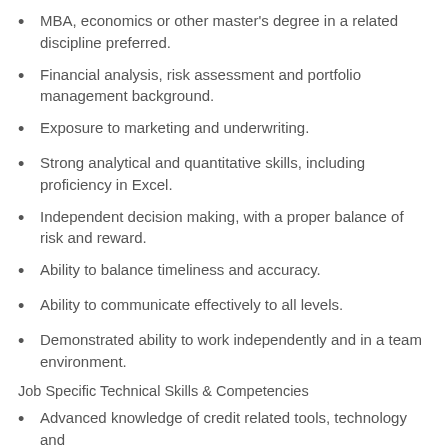MBA, economics or other master's degree in a related discipline preferred.
Financial analysis, risk assessment and portfolio management background.
Exposure to marketing and underwriting.
Strong analytical and quantitative skills, including proficiency in Excel.
Independent decision making, with a proper balance of risk and reward.
Ability to balance timeliness and accuracy.
Ability to communicate effectively to all levels.
Demonstrated ability to work independently and in a team environment.
Job Specific Technical Skills & Competencies
Advanced knowledge of credit related tools, technology and